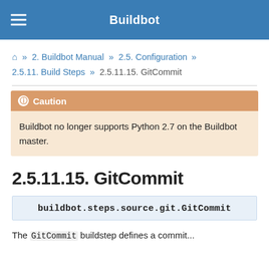Buildbot
⌂ » 2. Buildbot Manual » 2.5. Configuration » 2.5.11. Build Steps » 2.5.11.15. GitCommit
Caution
Buildbot no longer supports Python 2.7 on the Buildbot master.
2.5.11.15. GitCommit
buildbot.steps.source.git.GitCommit
The GitCommit buildstep defines a commit...